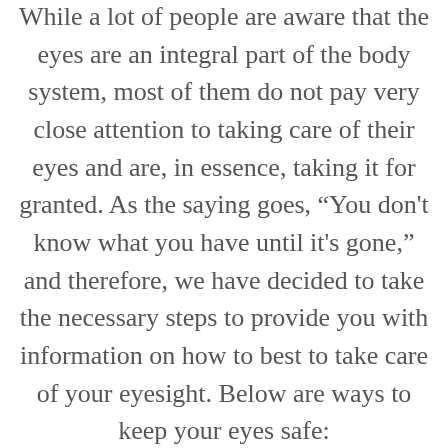While a lot of people are aware that the eyes are an integral part of the body system, most of them do not pay very close attention to taking care of their eyes and are, in essence, taking it for granted. As the saying goes, “You don't know what you have until it's gone,” and therefore, we have decided to take the necessary steps to provide you with information on how to best to take care of your eyesight. Below are ways to keep your eyes safe: